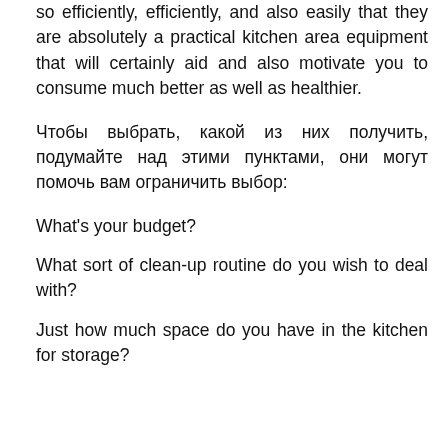so efficiently, efficiently, and also easily that they are absolutely a practical kitchen area equipment that will certainly aid and also motivate you to consume much better as well as healthier.
Чтобы выбрать, какой из них получить, подумайте над этими пунктами, они могут помочь вам ограничить выбор:
What's your budget?
What sort of clean-up routine do you wish to deal with?
Just how much space do you have in the kitchen for storage?